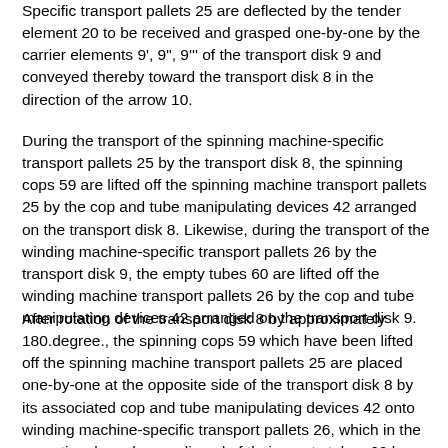Specific transport pallets 25 are deflected by the tender element 20 to be received and grasped one-by-one by the carrier elements 9', 9", 9''' of the transport disk 9 and conveyed thereby toward the transport disk 8 in the direction of the arrow 10.
During the transport of the spinning machine-specific transport pallets 25 by the transport disk 8, the spinning cops 59 are lifted off the spinning machine transport pallets 25 by the cop and tube manipulating devices 42 arranged on the transport disk 8. Likewise, during the transport of the winding machine-specific transport pallets 26 by the transport disk 9, the empty tubes 60 are lifted off the winding machine transport pallets 26 by the cop and tube manipulating devices 42 arranged on the transport disk 9.
After rotation of the transport disk 8 by approximately 180.degree., the spinning cops 59 which have been lifted off the spinning machine transport pallets 25 are placed one-by-one at the opposite side of the transport disk 8 by its associated cop and tube manipulating devices 42 onto winding machine-specific transport pallets 26, which in the meantime have been relieved of their empty tubes 60 by means of the corresponding